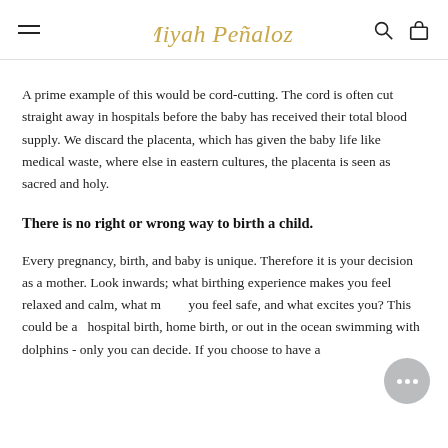Miyah Penaloza — navigation header with logo, search, and bag icons
A prime example of this would be cord-cutting. The cord is often cut straight away in hospitals before the baby has received their total blood supply. We discard the placenta, which has given the baby life like medical waste, where else in eastern cultures, the placenta is seen as sacred and holy.
There is no right or wrong way to birth a child.
Every pregnancy, birth, and baby is unique. Therefore it is your decision as a mother. Look inwards; what birthing experience makes you feel relaxed and calm, what makes you feel safe, and what excites you? This could be a hospital birth, home birth, or out in the ocean swimming with dolphins - only you can decide. If you choose to have a